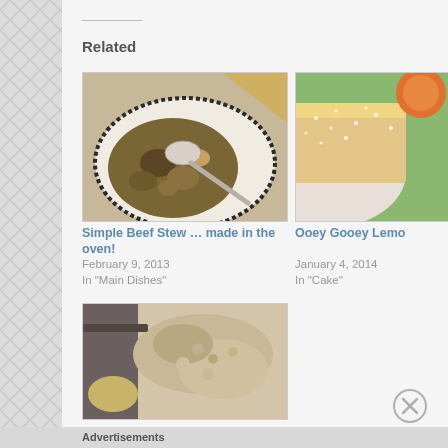Related
[Figure (photo): Bowl of beef stew with spoon on a white plate with decorative border]
[Figure (photo): Ooey gooey lemon cake with powdered sugar on a white plate, partially visible]
Simple Beef Stew … made in the oven!
February 9, 2013
In "Main Dishes"
Ooey Gooey Lemo
January 4, 2014
In "Cake"
[Figure (photo): Close-up of a food dish, possibly a casserole or dessert bar, partially visible at bottom]
Advertisements